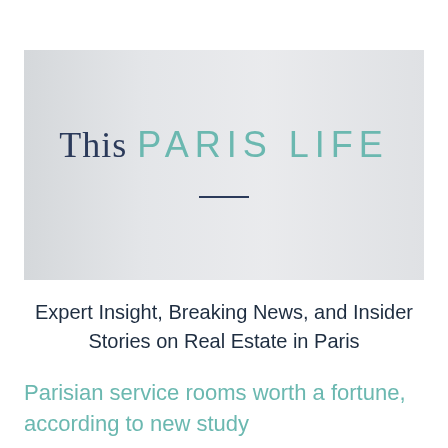[Figure (illustration): Banner with faded cityscape/interior background, containing the site title 'This PARIS LIFE' with a decorative horizontal line below]
This PARIS LIFE
Expert Insight, Breaking News, and Insider Stories on Real Estate in Paris
Parisian service rooms worth a fortune, according to new study